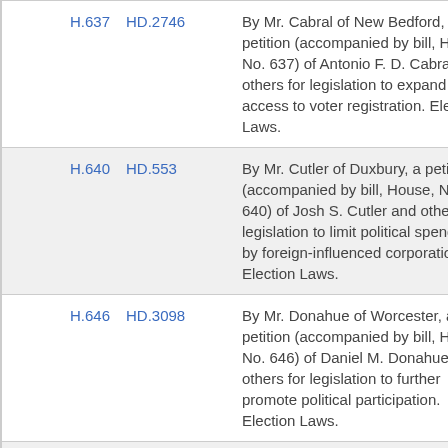| House No. | HD No. | Description |
| --- | --- | --- |
| H.637 | HD.2746 | By Mr. Cabral of New Bedford, a petition (accompanied by bill, House, No. 637) of Antonio F. D. Cabral and others for legislation to expand access to voter registration. Election Laws. |
| H.640 | HD.553 | By Mr. Cutler of Duxbury, a petition (accompanied by bill, House, No. 640) of Josh S. Cutler and others for legislation to limit political spending by foreign-influenced corporations. Election Laws. |
| H.646 | HD.3098 | By Mr. Donahue of Worcester, a petition (accompanied by bill, House, No. 646) of Daniel M. Donahue and others for legislation to further promote political participation. Election Laws. |
| S.661 | SD.564 | By Mr. Brady, a petition |